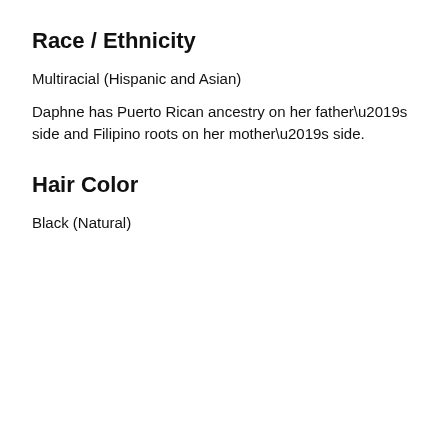Race / Ethnicity
Multiracial (Hispanic and Asian)
Daphne has Puerto Rican ancestry on her father’s side and Filipino roots on her mother’s side.
Hair Color
Black (Natural)